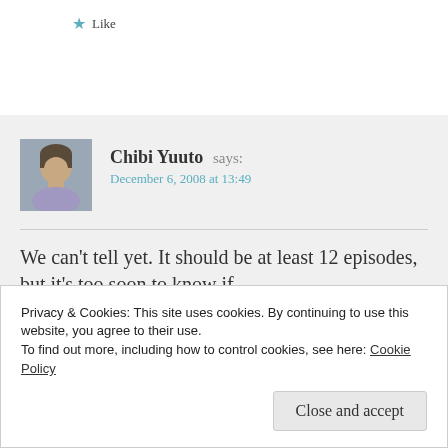★ Like
Reply
Chibi Yuuto says:
December 6, 2008 at 13:49
We can't tell yet. It should be at least 12 episodes, but it's too soon to know if
Privacy & Cookies: This site uses cookies. By continuing to use this website, you agree to their use. To find out more, including how to control cookies, see here: Cookie Policy
Close and accept